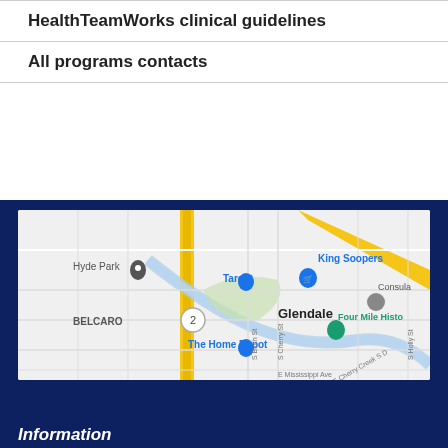HealthTeamWorks clinical guidelines
All programs contacts
[Figure (map): Google Maps view showing Glendale/Belcaro area in Denver, CO, with landmarks including Target, King Soopers, The Home Depot, Four Mile Historic Park, and Consulate. Map centered near Cherry Creek Drive South.]
4300 Cherry Creek Drive South Denver, CO 80246
Information